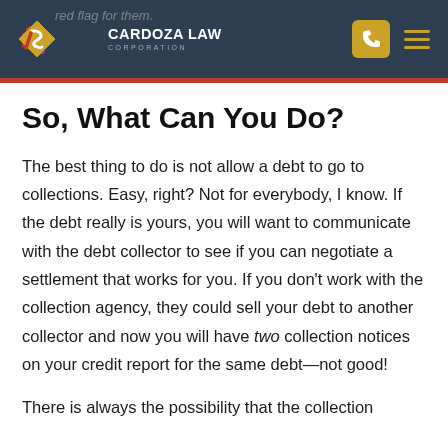Cardoza Law Corporation
So, What Can You Do?
The best thing to do is not allow a debt to go to collections. Easy, right? Not for everybody, I know. If the debt really is yours, you will want to communicate with the debt collector to see if you can negotiate a settlement that works for you. If you don't work with the collection agency, they could sell your debt to another collector and now you will have two collection notices on your credit report for the same debt—not good!
There is always the possibility that the collection